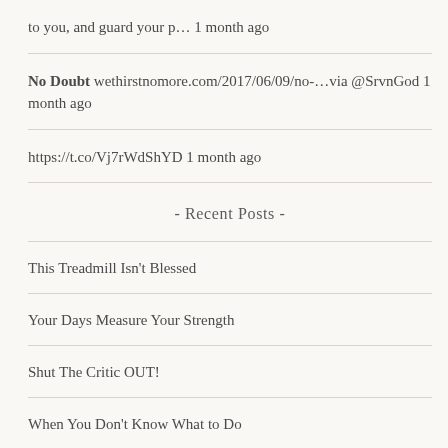to you, and guard your p… 1 month ago
No Doubt wethirstnomore.com/2017/06/09/no-…via @SrvnGod 1 month ago
https://t.co/Vj7rWdShYD 1 month ago
- Recent Posts -
This Treadmill Isn't Blessed
Your Days Measure Your Strength
Shut The Critic OUT!
When You Don't Know What to Do